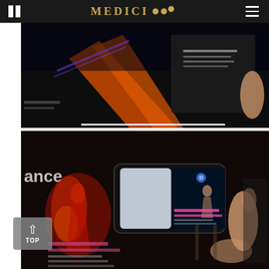MEDICI
[Figure (photo): A dark artistic photo showing a dancer in orange/red costume against a black background with a printed brochure or program visible, showing dance performance marketing materials.]
[Figure (photo): A photo of a hand holding a smartphone displaying a video of a male dancer on stage with blue lighting. In the background is a dark printed brochure for Ailey Alvin / Alvin Ailey American Dance Theater. The word 'ance' is visible on the left. A 'TOP' navigation button with an upward arrow is visible in the lower-left corner.]